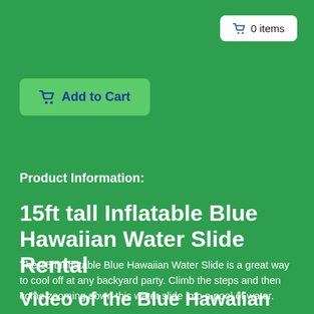🛒 0 items
🛒 Add to Cart
Product Information:
15ft tall Inflatable Blue Hawaiian Water Slide Rental
The 15ft Inflatable Blue Hawaiian Water Slide is a great way to cool off at any backyard party. Climb the steps and then come zooming down this water slide into a pool of water.
Video of the Blue Hawaiian Water Slide Rental: